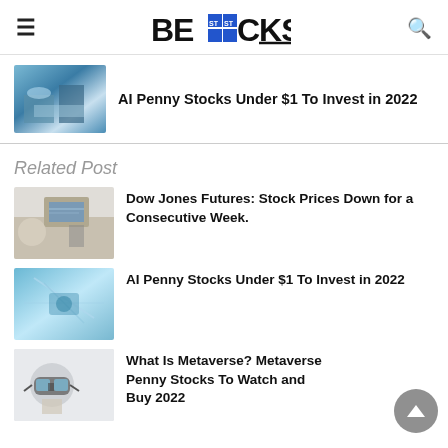BESTSTOCKS (logo)
[Figure (photo): Aerial/architectural rendering of a futuristic city with pools and buildings, thumbnail for AI Penny Stocks article]
AI Penny Stocks Under $1 To Invest in 2022
Related Post
[Figure (photo): Person using a laptop showing stock charts]
Dow Jones Futures: Stock Prices Down for a Consecutive Week.
[Figure (photo): Robotic hand or AI machinery with wires, futuristic tech]
AI Penny Stocks Under $1 To Invest in 2022
[Figure (photo): Person wearing a VR headset, metaverse concept]
What Is Metaverse? Metaverse Penny Stocks To Watch and Buy 2022